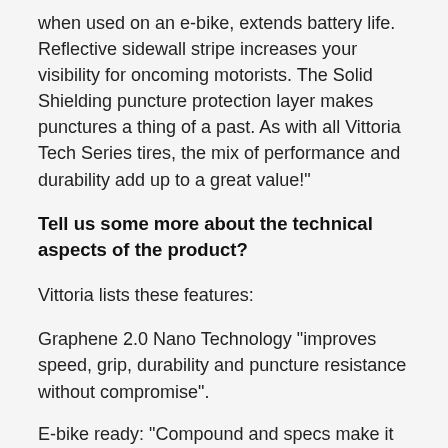when used on an e-bike, extends battery life. Reflective sidewall stripe increases your visibility for oncoming motorists. The Solid Shielding puncture protection layer makes punctures a thing of a past. As with all Vittoria Tech Series tires, the mix of performance and durability add up to a great value!"
Tell us some more about the technical aspects of the product?
Vittoria lists these features:
Graphene 2.0 Nano Technology "improves speed, grip, durability and puncture resistance without compromise".
E-bike ready: "Compound and specs make it suitable for the higher torque produced by the electric motor".
33TPI: "Nylon 33 is an extremely durable thread for